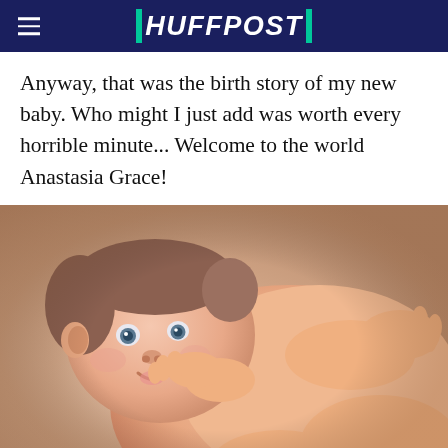HUFFPOST
Anyway, that was the birth story of my new baby. Who might I just add was worth every horrible minute... Welcome to the world Anastasia Grace!
[Figure (photo): A newborn baby lying on a soft blanket, looking at the camera with wide eyes, hands near mouth, photographed from slightly above. The baby appears to be smiling or making an expression with fingers near face.]